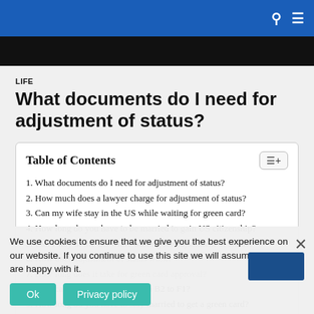LIFE
What documents do I need for adjustment of status?
Table of Contents
1. What documents do I need for adjustment of status?
2. How much does a lawyer charge for adjustment of status?
3. Can my wife stay in the US while waiting for green card?
4. How long do you have to be married to gain US citizenship?
5. Can I stay in the US while waiting for adjustment of status?
6. [partially obscured]
7. [partially obscured]
8. How can I change my visa from B2 to F1?
9. How long do you have to stay married to get a green card?
10. What is the cost for adjustment of status?
We use cookies to ensure that we give you the best experience on our website. If you continue to use this site we will assume that you are happy with it.